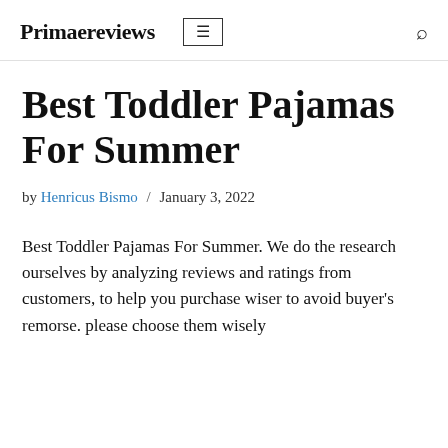Primaereviews
Best Toddler Pajamas For Summer
by Henricus Bismo / January 3, 2022
Best Toddler Pajamas For Summer. We do the research ourselves by analyzing reviews and ratings from customers, to help you purchase wiser to avoid buyer's remorse. please choose them wisely